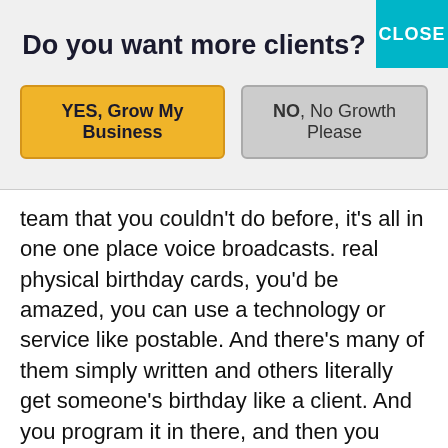Do you want more clients?
[Figure (screenshot): Two buttons: YES, Grow My Business (yellow) and NO, No Growth Please (grey)]
team that you couldn't do before, it's all in one one place voice broadcasts. real physical birthday cards, you'd be amazed, you can use a technology or service like postable. And there's many of them simply written and others literally get someone's birthday like a client. And you program it in there, and then you rotate the cards. But literally, we get messages every single month, because we've got it set up. And if you come into our ecosystem, you'll see how this works if we get